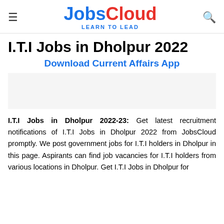JobsCloud – LEARN TO LEAD
I.T.I Jobs in Dholpur 2022
Download Current Affairs App
I.T.I Jobs in Dholpur 2022-23: Get latest recruitment notifications of I.T.I Jobs in Dholpur 2022 from JobsCloud promptly. We post government jobs for I.T.I holders in Dholpur in this page. Aspirants can find job vacancies for I.T.I holders from various locations in Dholpur. Get I.T.I Jobs in Dholpur for